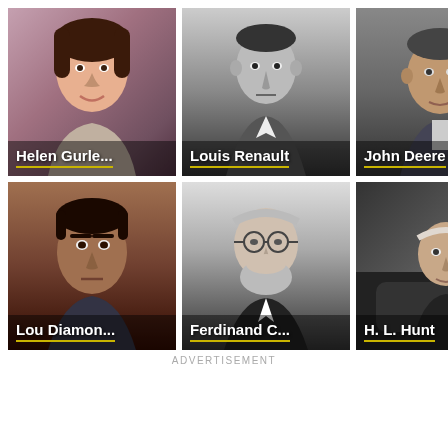[Figure (photo): Photo of Helen Gurle... with name label overlay]
[Figure (photo): Photo of Louis Renault with name label overlay]
[Figure (photo): Photo of John Deere with name label overlay]
[Figure (photo): Photo of Lou Diamon... with name label overlay]
[Figure (photo): Photo of Ferdinand C... with name label overlay]
[Figure (photo): Photo of H. L. Hunt with name label overlay]
ADVERTISEMENT